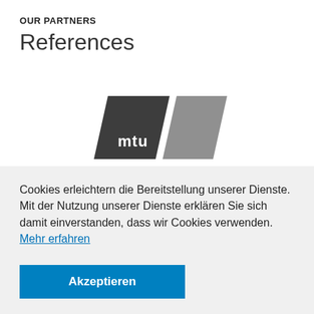OUR PARTNERS
References
[Figure (logo): MTU logo consisting of two parallelogram shapes: a dark charcoal one with 'mtu' text and a lighter grey one beside it]
Cookies erleichtern die Bereitstellung unserer Dienste. Mit der Nutzung unserer Dienste erklären Sie sich damit einverstanden, dass wir Cookies verwenden. Mehr erfahren
Akzeptieren